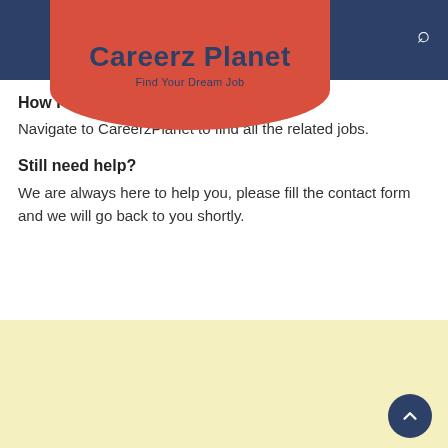Careerz Planet – Find Your Dream Job
How I can find the same jobs?
Navigate to CareerzPlanet to find all the related jobs.
Still need help?
We are always here to help you, please fill the contact form and we will go back to you shortly.